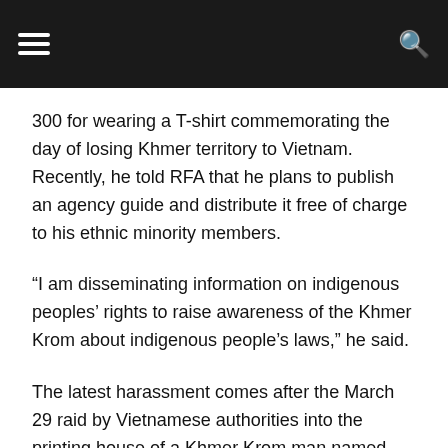[Navigation bar with hamburger menu and search icon]
300 for wearing a T-shirt commemorating the day of losing Khmer territory to Vietnam. Recently, he told RFA that he plans to publish an agency guide and distribute it free of charge to his ethnic minority members.
“I am disseminating information on indigenous peoples’ rights to raise awareness of the Khmer Krom about indigenous people’s laws,” he said.
The latest harassment comes after the March 29 raid by Vietnamese authorities into the printing house of a Khmer Krom man named Thach Sang, who created T-shirts claiming to be in favor of International Day. March 8 women of this ethnic minority group according to customer orders.